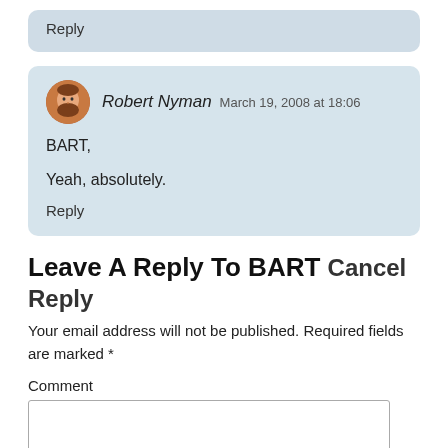Reply
Robert Nyman  March 19, 2008 at 18:06
BART,
Yeah, absolutely.
Reply
Leave A Reply To BART  Cancel Reply
Your email address will not be published. Required fields are marked *
Comment